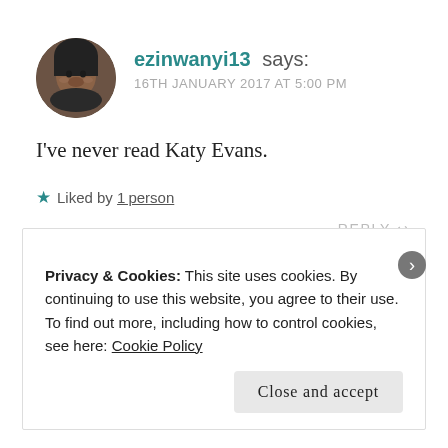[Figure (photo): Circular avatar photo of user ezinwanyi13, a person wearing dark clothing]
ezinwanyi13 says:
16TH JANUARY 2017 AT 5:00 PM
I've never read Katy Evans.
★ Liked by 1 person
REPLY ↩
Privacy & Cookies: This site uses cookies. By continuing to use this website, you agree to their use.
To find out more, including how to control cookies, see here: Cookie Policy
Close and accept